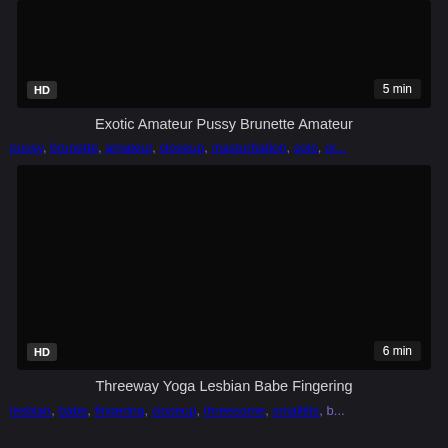[Figure (screenshot): Dark video thumbnail with HD badge bottom-left and 5 min duration bottom-right]
Exotic Amateur Pussy Brunette Amateur
pussy, brunette, amateur, closeup, masturbation, solo, or...
[Figure (screenshot): Dark video thumbnail with HD badge bottom-left and 6 min duration bottom-right]
Threeway Yoga Lesbian Babe Fingering
lesbian, babe, fingering, closeup, threesome, smalltits, b...